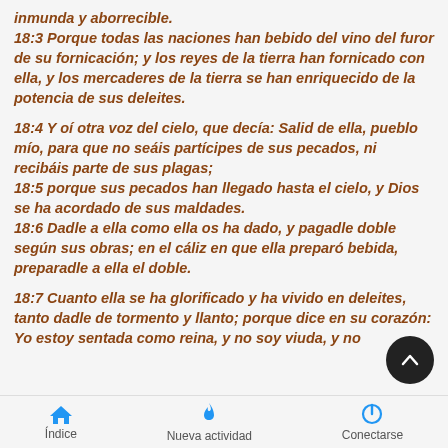inmunda y aborrecible.
18:3 Porque todas las naciones han bebido del vino del furor de su fornicación; y los reyes de la tierra han fornicado con ella, y los mercaderes de la tierra se han enriquecido de la potencia de sus deleites.
18:4 Y oí otra voz del cielo, que decía: Salid de ella, pueblo mío, para que no seáis partícipes de sus pecados, ni recibáis parte de sus plagas;
18:5 porque sus pecados han llegado hasta el cielo, y Dios se ha acordado de sus maldades.
18:6 Dadle a ella como ella os ha dado, y pagadle doble según sus obras; en el cáliz en que ella preparó bebida, preparadle a ella el doble.
18:7 Cuanto ella se ha glorificado y ha vivido en deleites, tanto dadle de tormento y llanto; porque dice en su corazón: Yo estoy sentada como reina, y no soy viuda, y no
Índice   Nueva actividad   Conectarse